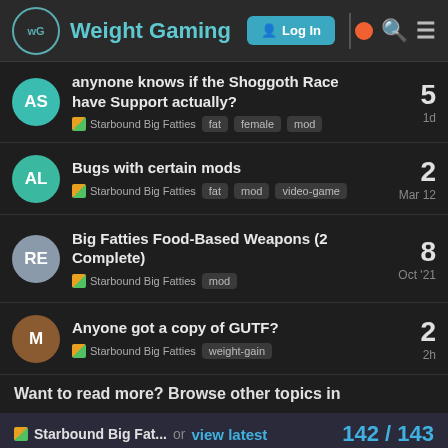Weight Gaming — Log In
anynone knows if the Shoggoth Race have Support actually? — Starbound Big Fatties — fat, female, mod — 5 replies — 1d
Bugs with certain mods — Starbound Big Fatties — fat, mod, video-game — 2 replies — Mar 12
Big Fatties Food-Based Weapons (2 Complete) — Starbound Big Fatties — mod — 8 replies — Oct '21
Anyone got a copy of GUTF? — Starbound Big Fatties — weight-gain — 2 replies — 2h
Want to read more? Browse other topics in Starbound Big Fat... or view latest
142 / 143